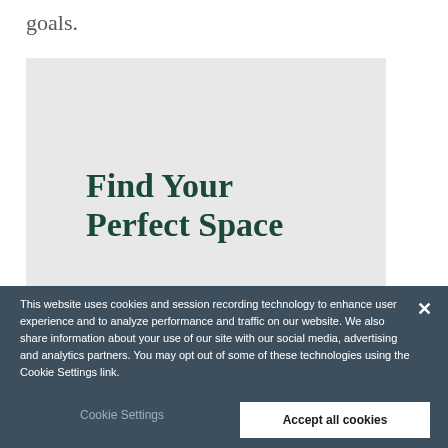goals.
Find Your Perfect Space
Search Properties
This website uses cookies and session recording technology to enhance user experience and to analyze performance and traffic on our website. We also share information about your use of our site with our social media, advertising and analytics partners. You may opt out of some of these technologies using the Cookie Settings link.
Cookie Settings
Accept all cookies